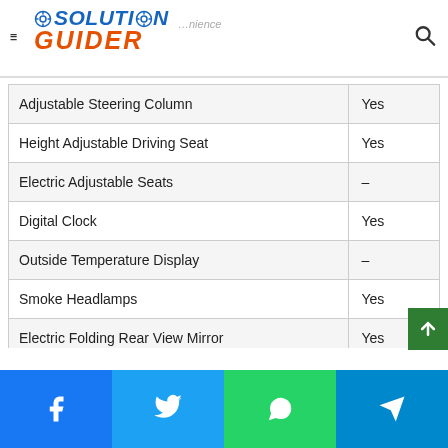Solution Guider
| Feature | Value |
| --- | --- |
| Adjustable Steering Column | Yes |
| Height Adjustable Driving Seat | Yes |
| Electric Adjustable Seats | – |
| Digital Clock | Yes |
| Outside Temperature Display | – |
| Smoke Headlamps | Yes |
| Electric Folding Rear View Mirror | Yes |
| Removable/Convertible Top | – |
Facebook | Twitter | WhatsApp | Telegram